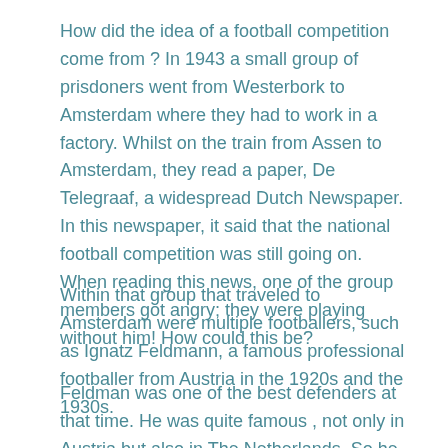How did the idea of a football competition come from ? In 1943 a small group of prisdoners went from Westerbork to Amsterdam where they had to work in a factory. Whilst on the train from Assen to Amsterdam, they read a paper, De Telegraaf, a widespread Dutch Newspaper. In this newspaper, it said that the national football competition was still going on. When reading this news, one of the group members got angry; they were playing without him! How could this be?
Within that group that traveled to Amsterdam were multiple footballers, such as Ignatz Feldmann, a famous professional footballer from Austria in the 1920s and the 1930s.
Feldman was one of the best defenders at that time. He was quite famous , not only in Austria but also in The Netherlands. So he had a certain status within Camp